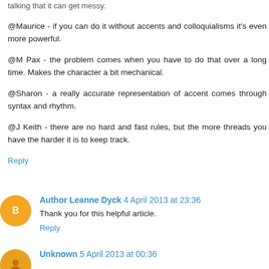talking that it can get messy.
@Maurice - if you can do it without accents and colloquialisms it's even more powerful.
@M Pax - the problem comes when you have to do that over a long time. Makes the character a bit mechanical.
@Sharon - a really accurate representation of accent comes through syntax and rhythm.
@J Keith - there are no hard and fast rules, but the more threads you have the harder it is to keep track.
Reply
Author Leanne Dyck 4 April 2013 at 23:36
Thank you for this helpful article.
Reply
Unknown 5 April 2013 at 00:36